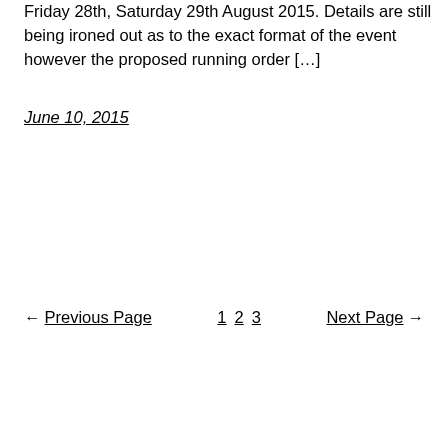Friday 28th, Saturday 29th August 2015. Details are still being ironed out as to the exact format of the event however the proposed running order […]
June 10, 2015
← Previous Page   1 2 3   Next Page →